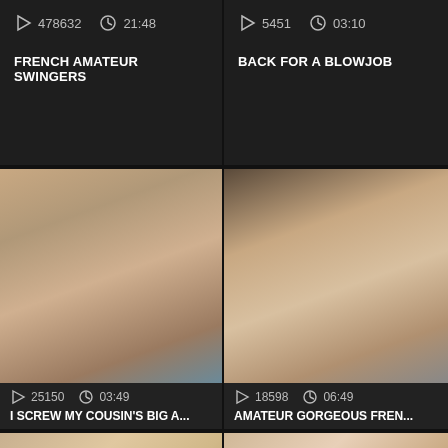[Figure (screenshot): Video thumbnail grid showing adult content website with 6 video thumbnails in 2-column layout]
478632   21:48
FRENCH AMATEUR SWINGERS
5451   03:10
BACK FOR A BLOWJOB
[Figure (photo): Adult video thumbnail 3]
25150   03:49
I SCREW MY COUSIN'S BIG A...
[Figure (photo): Adult video thumbnail 4]
18598   06:49
AMATEUR GORGEOUS FREN...
[Figure (photo): Adult video thumbnail 5]
[Figure (photo): Adult video thumbnail 6]